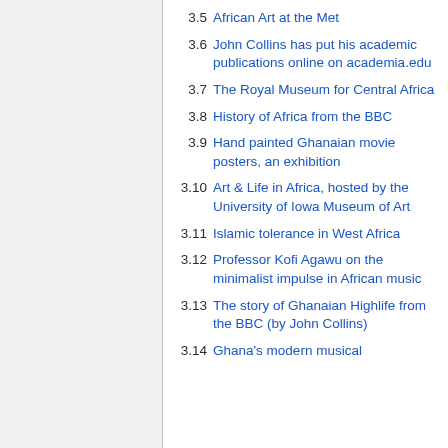3.5 African Art at the Met
3.6 John Collins has put his academic publications online on academia.edu
3.7 The Royal Museum for Central Africa
3.8 History of Africa from the BBC
3.9 Hand painted Ghanaian movie posters, an exhibition
3.10 Art & Life in Africa, hosted by the University of Iowa Museum of Art
3.11 Islamic tolerance in West Africa
3.12 Professor Kofi Agawu on the minimalist impulse in African music
3.13 The story of Ghanaian Highlife from the BBC (by John Collins)
3.14 Ghana's modern musical...